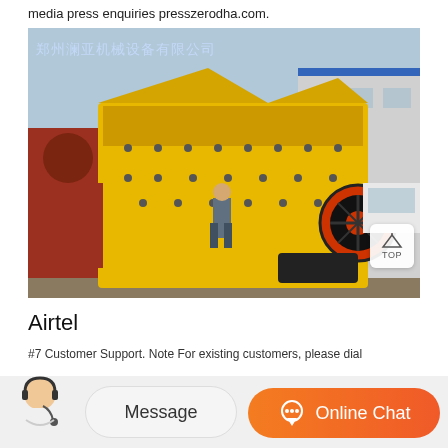media press enquiries presszerodha.com.
[Figure (photo): Large yellow industrial impact crusher machine (破碎机) in a factory yard, with a worker nearby and red/blue industrial equipment in background. Chinese watermark: 郑州澜亚机械设备有限公司]
Airtel
#7 Customer Support. Note For existing customers, please dial the number of Local Customer Care Number. For the enquiries...
[Figure (other): Bottom navigation bar with avatar, Message button, and Online Chat button in orange]